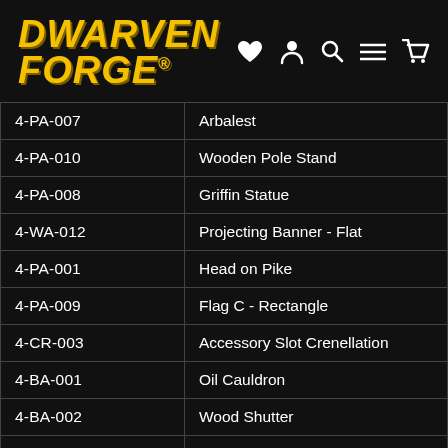Dwarven Forge®
| Code | Name |
| --- | --- |
| 4-PA-007 | Arbalest |
| 4-PA-010 | Wooden Pole Stand |
| 4-PA-008 | Griffin Statue |
| 4-WA-012 | Projecting Banner - Flat |
| 4-PA-001 | Head on Pike |
| 4-PA-009 | Flag C - Rectangle |
| 4-CR-003 | Accessory Slot Crenellation |
| 4-BA-001 | Oil Cauldron |
| 4-BA-002 | Wood Shutter |
| 4-PA-002 | Perched Gargoyle |
| 4-LD-016 | LED Chromatic Orb |